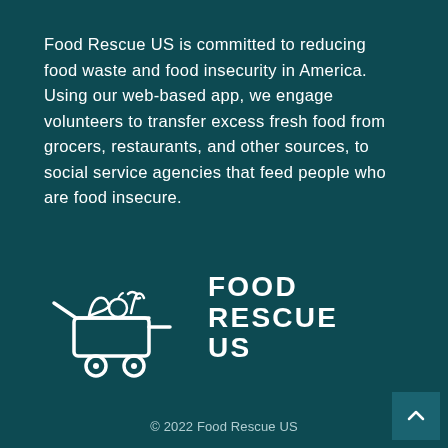Food Rescue US is committed to reducing food waste and food insecurity in America. Using our web-based app, we engage volunteers to transfer excess fresh food from grocers, restaurants, and other sources, to social service agencies that feed people who are food insecure.
[Figure (logo): Food Rescue US logo: a shopping cart with produce (bread, vegetables) rendered as a white line illustration, alongside the text FOOD RESCUE US in bold white uppercase letters]
© 2022 Food Rescue US